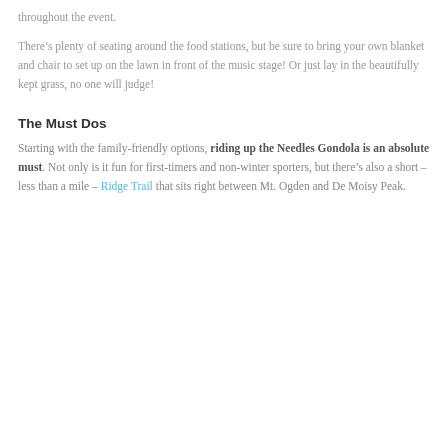throughout the event.
There’s plenty of seating around the food stations, but be sure to bring your own blanket and chair to set up on the lawn in front of the music stage! Or just lay in the beautifully kept grass, no one will judge!
The Must Dos
Starting with the family-friendly options, riding up the Needles Gondola is an absolute must. Not only is it fun for first-timers and non-winter sporters, but there’s also a short – less than a mile – Ridge Trail that sits right between Mt. Ogden and De Moisy Peak.